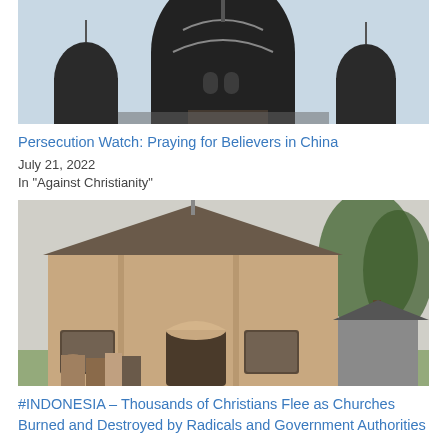[Figure (photo): Photo of a church or building with dark domes/spires, people visible on rooftop, light sky background — associated with persecution of Christians in China]
Persecution Watch: Praying for Believers in China
July 21, 2022
In "Against Christianity"
[Figure (photo): Photo of a brick church building with a gabled roof, people gathered in front, trees in background — Indonesia church]
#INDONESIA – Thousands of Christians Flee as Churches Burned and Destroyed by Radicals and Government Authorities